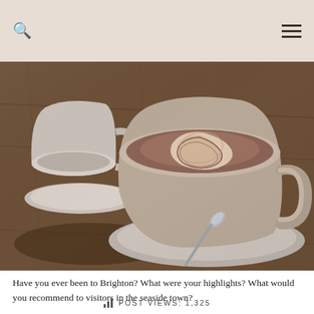[Figure (photo): Two ceramic coffee cups with latte art on saucers placed on a wooden table, one cup in foreground showing swirled chocolate/milk pattern]
Have you ever been to Brighton? What were your highlights? What would you recommend to visitors in the seaside town?
POST VIEWS: 1,325